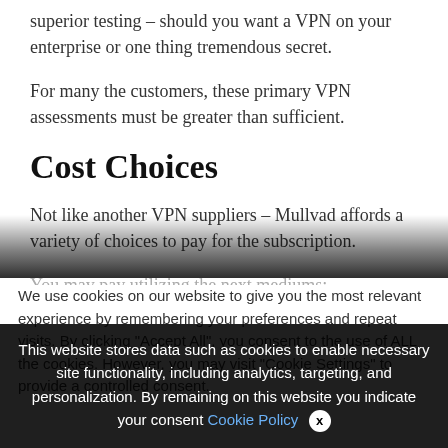superior testing – should you want a VPN on your enterprise or one thing tremendous secret.
For many the customers, these primary VPN assessments must be greater than sufficient.
Cost Choices
Not like another VPN suppliers – Mullvad affords a variety of choices to pay for the subscription.
You may pay utilizing the next mediums:
We use cookies on our website to give you the most relevant experience by remembering your preferences and repeat visits. By clicking "Accept All", you consent to the use of ALL the cookies. However, you may visit "Cookie Settings" to provide a controlled consent.
This website stores data such as cookies to enable necessary site functionality, including analytics, targeting, and personalization. By remaining on this website you indicate your consent Cookie Policy